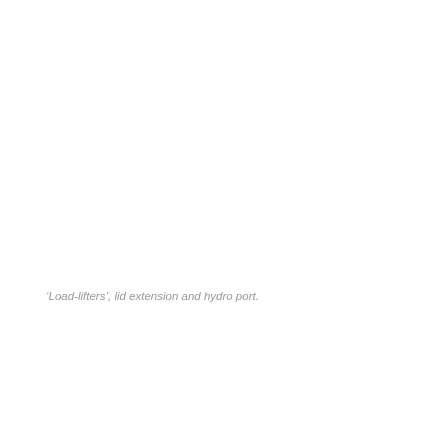‘Load-lifters’, lid extension and hydro port.